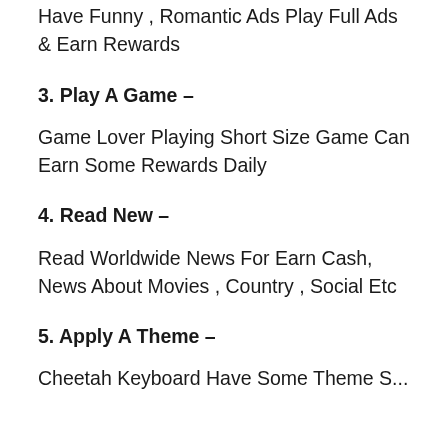Have Funny , Romantic Ads Play Full Ads & Earn Rewards
3. Play A Game –
Game Lover Playing Short Size Game Can Earn Some Rewards Daily
4. Read New –
Read Worldwide News For Earn Cash, News About Movies , Country , Social Etc
5. Apply A Theme –
Cheetah Keyboard Have Some Theme S...